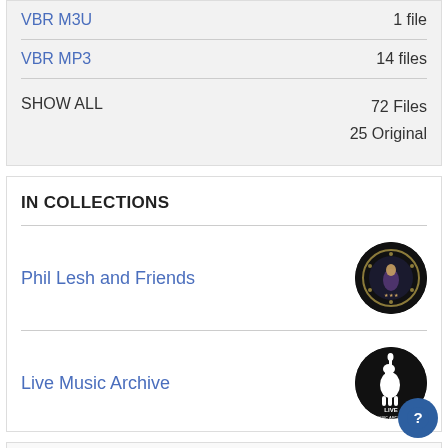VBR M3U — 1 file
VBR MP3 — 14 files
SHOW ALL
72 Files
25 Original
IN COLLECTIONS
Phil Lesh and Friends
Live Music Archive
[Figure (illustration): Phil Lesh and Friends circular logo on black background]
[Figure (illustration): Live Music Archive circular logo showing a llama with LIVE MUSIC ARCHIVE text on black background]